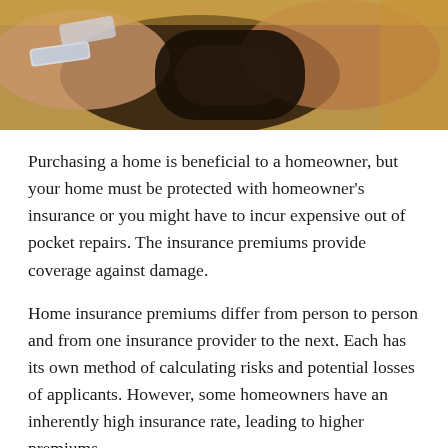[Figure (photo): Close-up photo of a person's wrist wearing a hospital/ID bracelet while gripping a steering wheel or handle, with a yellowish background]
Purchasing a home is beneficial to a homeowner, but your home must be protected with homeowner's insurance or you might have to incur expensive out of pocket repairs. The insurance premiums provide coverage against damage.
Home insurance premiums differ from person to person and from one insurance provider to the next. Each has its own method of calculating risks and potential losses of applicants. However, some homeowners have an inherently high insurance rate, leading to higher premiums.
Here are some ways to lower your insurance premium: